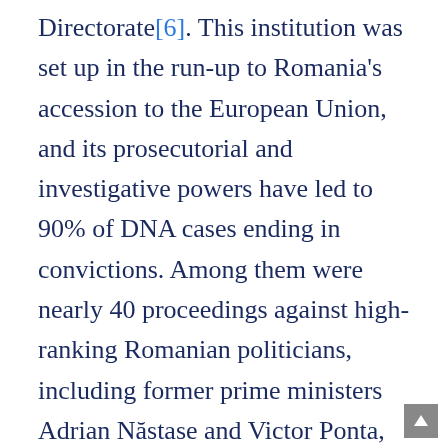Directorate[6]. This institution was set up in the run-up to Romania's accession to the European Union, and its prosecutorial and investigative powers have led to 90% of DNA cases ending in convictions. Among them were nearly 40 proceedings against high-ranking Romanian politicians, including former prime ministers Adrian Năstase and Victor Ponta, as well as the leader of the PSD Liviu Dragnea.